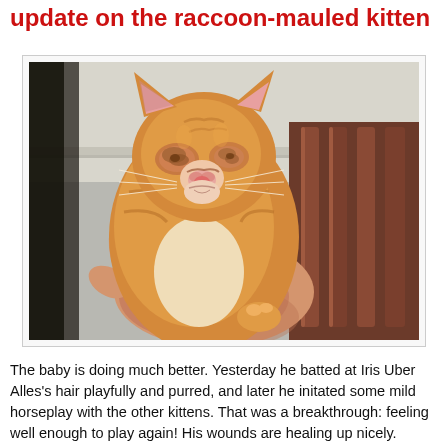update on the raccoon-mauled kitten
[Figure (photo): A small orange tabby kitten with injuries around its face and eyes, being held up by a person's hand. The kitten appears to have swollen eyes and wounds around the nose and face. Background shows a wooden chair and wall.]
The baby is doing much better. Yesterday he batted at Iris Uber Alles's hair playfully and purred, and later he initated some mild horseplay with the other kittens. That was a breakthrough: feeling well enough to play again! His wounds are healing up nicely.